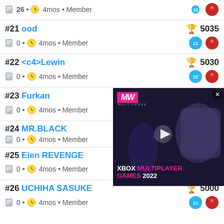26 • 4mos • Member (top partial row)
#21 ood — 5035, 0 • 4mos • Member
#22 <c4>Lewin — 5030, 0 • 4mos • Member
#23 Furkan — 5016, 0 • 4mos • Member
#24 MR.BLACK, 0 • 4mos • Member
#25 Eien REVENGE, 0 • 4mos • Member
#26 UCHIHA SASUKE — 5000, 0 • 4mos • Member
[Figure (screenshot): XBOX MULTIPLAYER GAMES 2022 advertisement overlay with MW logo]